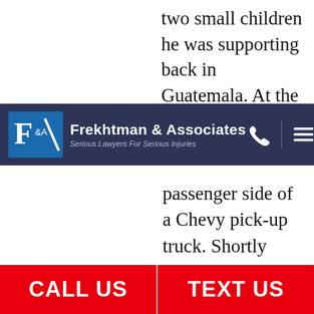two small children he was supporting back in Guatemala. At the accident scene, the e-
[Figure (logo): Frekhtman & Associates law firm logo with navigation bar on dark navy background. Logo shows F&A letters in a blue square, firm name 'Frekhtman & Associates' and tagline 'Serious Lawyers For Serious Injuries', phone icon, and hamburger menu icon.]
passenger side of a Chevy pick-up truck. Shortly before this deadly collision, witnesses said that the truck driver may have suddenly veered into the oncoming traffic.
→ June 2021. In the Whitestone section of Queens, a
CALL US   TEXT US